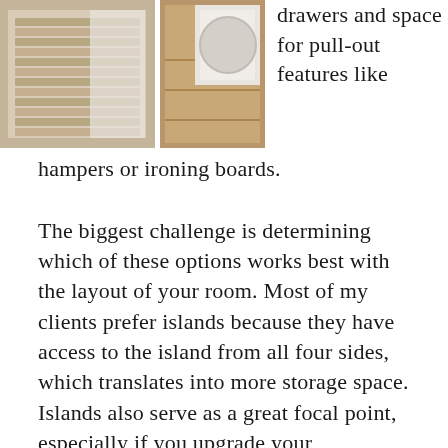[Figure (photo): Two photos side by side showing closet/storage drawers and interior organization features]
drawers and space for pull-out features like hampers or ironing boards.
The biggest challenge is determining which of these options works best with the layout of your room. Most of my clients prefer islands because they have access to the island from all four sides, which translates into more storage space. Islands also serve as a great focal point, especially if you upgrade your countertop to granite or marble. A peninsula will still provide the extra space you're looking for, but since it extends from the wall,you can only access it from three sides. It does leave you with more open floor space in the middle of the room, though.